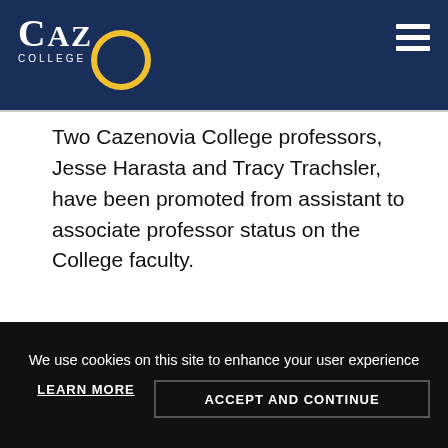CAZ COLLEGE
Two Cazenovia College professors, Jesse Harasta and Tracy Trachsler, have been promoted from assistant to associate professor status on the College faculty.
[Figure (photo): Headshot of a young man with glasses, short dark hair, goatee, wearing a blue collared shirt and yellow tie, in front of a beige background.]
We use cookies on this site to enhance your user experience
LEARN MORE
ACCEPT AND CONTINUE